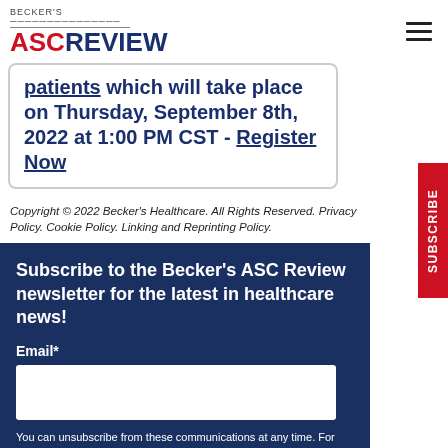Becker's ASC Review
patients which will take place on Thursday, September 8th, 2022 at 1:00 PM CST - Register Now
Copyright © 2022 Becker's Healthcare. All Rights Reserved. Privacy Policy. Cookie Policy. Linking and Reprinting Policy.
Subscribe to the Becker's ASC Review newsletter for the latest in healthcare news! Email* You can unsubscribe from these communications at any time. For more